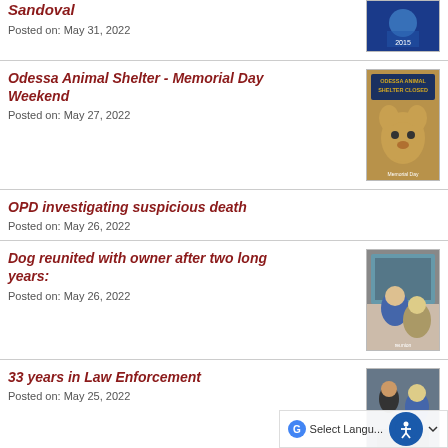Sandoval
Posted on: May 31, 2022
Odessa Animal Shelter - Memorial Day Weekend
Posted on: May 27, 2022
OPD investigating suspicious death
Posted on: May 26, 2022
Dog reunited with owner after two long years:
Posted on: May 26, 2022
33 years in Law Enforcement
Posted on: May 25, 2022
OPD - Neighborhood Watch Party
Posted on: May 25, 2022